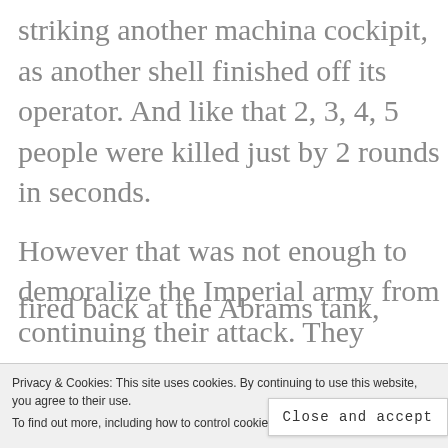striking another machina cockipit, as another shell finished off its operator. And like that 2, 3, 4, 5 people were killed just by 2 rounds in seconds.
However that was not enough to demoralize the Imperial army from continuing their attack. They
Privacy & Cookies: This site uses cookies. By continuing to use this website, you agree to their use.
To find out more, including how to control cookies, see here: Privacy Policy
Close and accept
fired back at the Abrams tank,